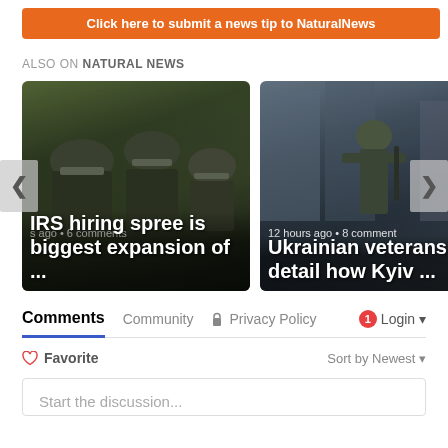[Figure (other): Orange button: Click here to submit a news tip to NaturalNews]
ALSO ON NATURAL NEWS
[Figure (photo): Carousel with two news cards: 1) Riot police with helmets - 's ago · 6 comments - IRS hiring spree is biggest expansion of ...' 2) Soldier in street - '12 hours ago · 8 comments - Ukrainian veterans detail how Kyiv ...' with left and right navigation arrows]
Comments | Community | Privacy Policy | 1 | Login
♡ Favorite | Sort by Newest ▼
Start the discussion...